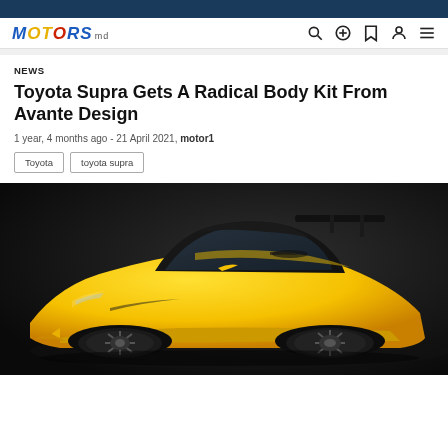MOTORS.md
NEWS
Toyota Supra Gets A Radical Body Kit From Avante Design
1 year, 4 months ago - 21 April 2021, motor1
Toyota
toyota supra
[Figure (photo): Yellow Toyota Supra with radical body kit from Avante Design, shown in three-quarter front view against a dark background]